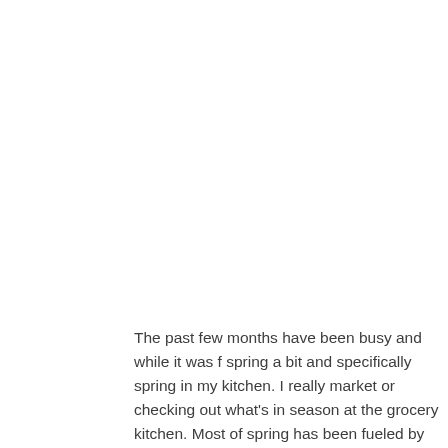The past few months have been busy and while it was f spring a bit and specifically spring in my kitchen. I really market or checking out what's in season at the grocery kitchen. Most of spring has been fueled by quick meals.
Recently, I stopped by Whole Foods and had the best ti spring came flooding back and soon I filled my cart with wrote a geeky list of all the ways I would use my beaut